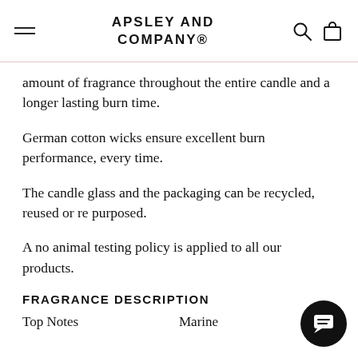APSLEY AND COMPANY®
amount of fragrance throughout the entire candle and a longer lasting burn time.
German cotton wicks ensure excellent burn performance, every time.
The candle glass and the packaging can be recycled, reused or re purposed.
A no animal testing policy is applied to all our products.
FRAGRANCE DESCRIPTION
|  |  |
| --- | --- |
| Top Notes | Marine |